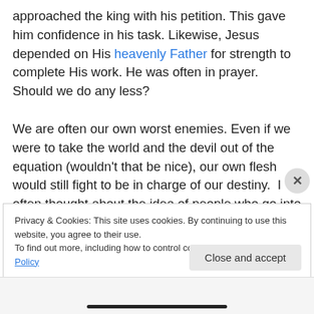approached the king with his petition. This gave him confidence in his task. Likewise, Jesus depended on His heavenly Father for strength to complete His work. He was often in prayer. Should we do any less?

We are often our own worst enemies. Even if we were to take the world and the devil out of the equation (wouldn't that be nice), our own flesh would still fight to be in charge of our destiny.  I often thought about the idea of people who go into convents or monasteries. The problem is, you bring yourself in with you. You can't escape sin, because
Privacy & Cookies: This site uses cookies. By continuing to use this website, you agree to their use.
To find out more, including how to control cookies, see here: Cookie Policy